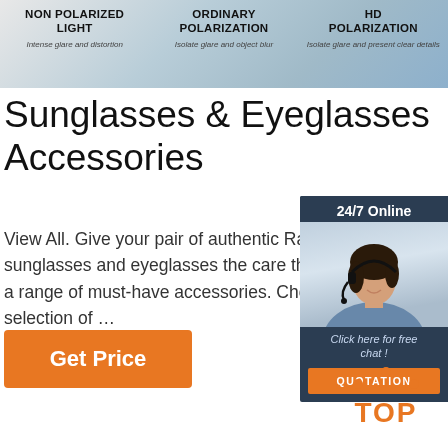[Figure (infographic): Three-panel banner comparing NON POLARIZED LIGHT (Intense glare and distortion), ORDINARY POLARIZATION (Isolate glare and object blur), and HD POLARIZATION (Isolate glare and present clear details)]
Sunglasses & Eyeglasses Accessories
View All. Give your pair of authentic Ray-Ban sunglasses and eyeglasses the care they a range of must-have accessories. Choos selection of …
[Figure (infographic): 24/7 Online chat widget with agent photo, 'Click here for free chat!' text and QUOTATION button]
Get Price
[Figure (other): TOP scroll-to-top button with orange dots above orange TOP text]